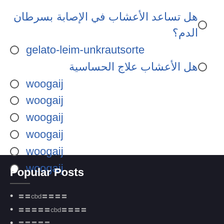هل تساعد الأعشاب في الإصابة بسرطان الدم؟
gelato-leim-unkrautsorte
هل الأعشاب علاج الحساسية
woogaij
woogaij
woogaij
woogaij
woogaij
woogaij
Popular Posts
〓〓cbd〓〓〓〓
〓〓〓〓〓cbd〓〓〓〓
〓〓〓〓〓